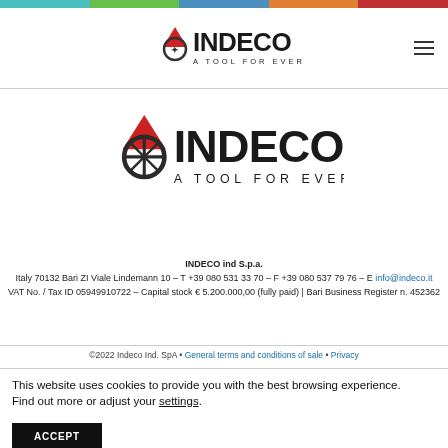[Figure (logo): INDECO A TOOL FOR EVERY JOB logo in header nav bar]
[Figure (logo): INDECO A TOOL FOR EVERY JOB large logo in center of page]
INDECO ind S.p.a.
Italy 70132 Bari ZI Viale Lindemann 10 – T +39 080 531 33 70 – F +39 080 537 79 76 – E info@indeco.it
VAT No. / Tax ID 05949910722 – Capital stock € 5.200.000,00 (fully paid) | Bari Business Register n. 452362
©2022 Indeco Ind. SpA • General terms and conditions of sale • Privacy
This website uses cookies to provide you with the best browsing experience.
Find out more or adjust your settings.
ACCEPT